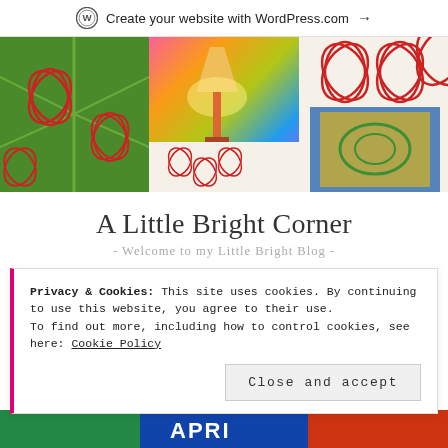Create your website with WordPress.com →
[Figure (photo): Colorful hero banner composed of three side-by-side photographic images: left shows a green tropical leaf with red geometric pattern, center shows a lamp on a colorful patterned floor, right shows decorative colorful tiles/patterns with red star/flower motifs.]
A Little Bright Corner
- Welcome to my Little Bright Blog -
Privacy & Cookies: This site uses cookies. By continuing to use this website, you agree to their use.
To find out more, including how to control cookies, see here: Cookie Policy
Close and accept
[Figure (photo): Bottom strip showing colorful outdoor signage, partial view of text reading 'APRIL' or similar.]